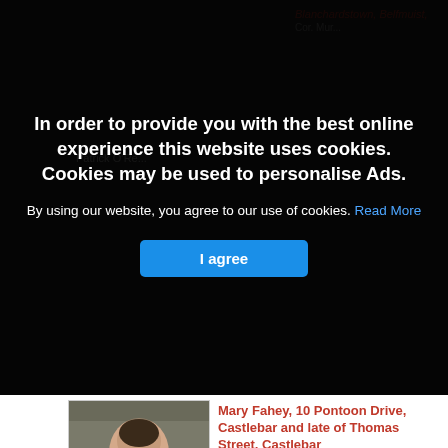[Figure (screenshot): Cookie consent overlay on a website listing obituaries. Dark semi-transparent background covers the top portion of the page.]
In order to provide you with the best online experience this website uses cookies. Cookies may be used to personalise Ads.
By using our website, you agree to our use of cookies. Read More
I agree
[Figure (photo): Portrait photo of elderly woman in dark clothing with white collar, Mary Fahey]
Mary Fahey, 10 Pontoon Drive, Castlebar and late of Thomas Street, Castlebar
Mary Fahey
10 Pontoon Drive, Castlebar and late of Thomas Street,
Castlebar -…
[Figure (photo): Portrait photo of woman with short light hair, Anne O'Malley née Feeney]
Jul 30, 2022
Anne O'Malley née Feeney, Bunnacrower, Hollymount
Anne O'Malley née Feeney